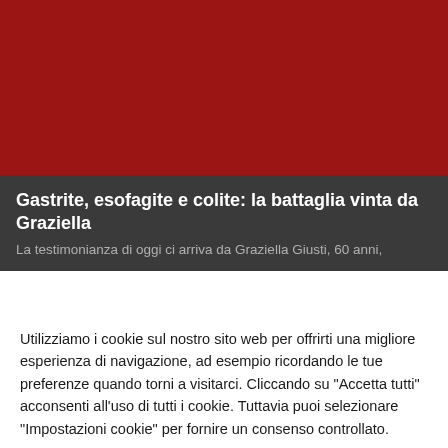[Figure (photo): Dark red/crimson background image area serving as hero image for the article]
Gastrite, esofagite e colite: la battaglia vinta da Graziella
La testimonianza di oggi ci arriva da Graziella Giusti, 60 anni,
Utilizziamo i cookie sul nostro sito web per offrirti una migliore esperienza di navigazione, ad esempio ricordando le tue preferenze quando torni a visitarci. Cliccando su "Accetta tutti" acconsenti all'uso di tutti i cookie. Tuttavia puoi selezionare "Impostazioni cookie" per fornire un consenso controllato.
Impostazioni cookie
Accetta tutti